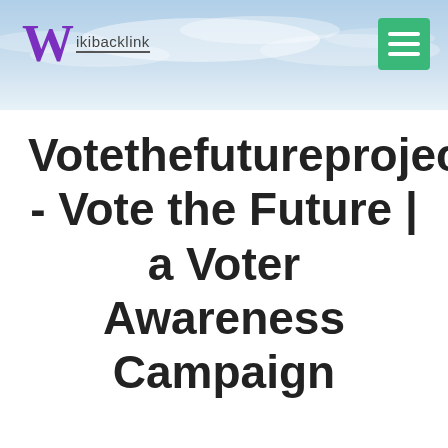Wikibacklink
Votethefutureproject.org - Vote the Future | a Voter Awareness Campaign